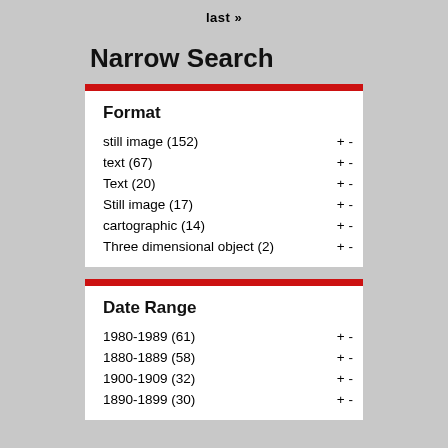last »
Narrow Search
Format
still image (152) + -
text (67) + -
Text (20) + -
Still image (17) + -
cartographic (14) + -
Three dimensional object (2) + -
Date Range
1980-1989 (61) + -
1880-1889 (58) + -
1900-1909 (32) + -
1890-1899 (30) + -